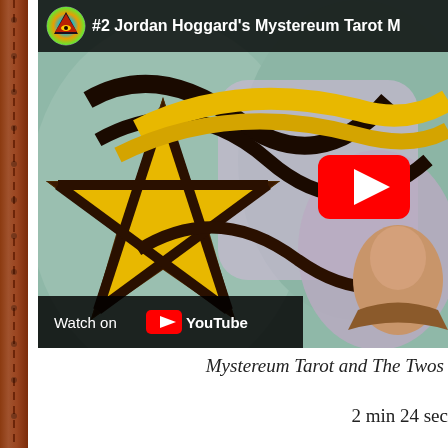[Figure (screenshot): YouTube video thumbnail showing a tarot card artwork with yellow pentagram star symbol on dark background, green and purple robes. Video title '#2 Jordan Hoggard's Mystereum Tarot M' visible in top bar with channel icon. Red YouTube play button in center-right. 'Watch on YouTube' bar at bottom-left.]
Mystereum Tarot and The Twos
2 min 24 sec